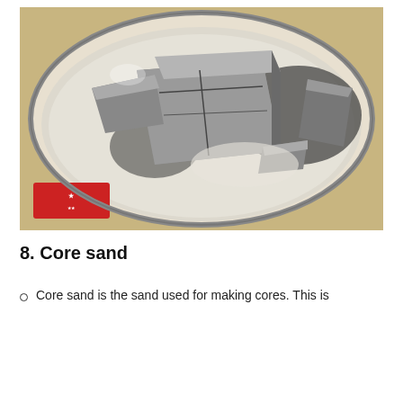[Figure (photo): Overhead view of a metal bucket/container filled with white sand and broken grey sand core blocks/pieces sitting in the sand]
8. Core sand
Core sand is the sand used for making cores. This is